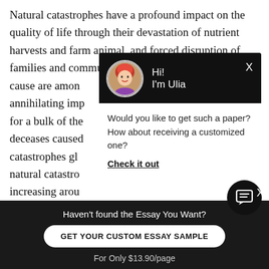Natural catastrophes have a profound impact on the quality of life through their devastation of nutrient harvests and farm animal, and forced disruption of families and communities. Their toll on lives and the cause are among annihilating imp for a bulk of the deceases caused catastrophes gl natural catastro increasing arou
[Figure (screenshot): Chat popup with avatar of woman with pink/red hair, greeting 'Hi! I'm Ulia', message 'Would you like to get such a paper? How about receiving a customized one? Check it out']
Haven't found the Essay You Want?
GET YOUR CUSTOM ESSAY SAMPLE
For Only $13.90/page